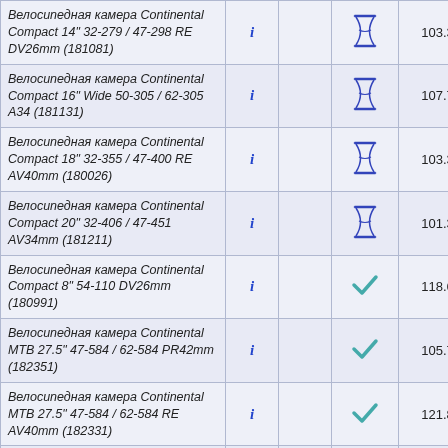| Наименование | i |  | Иконка | Цена1 | Цена2 |
| --- | --- | --- | --- | --- | --- |
| Велосипедная камера Continental Compact 14" 32-279 / 47-298 RE DV26mm (181081) | i |  | hourglass | 103.38 | 103.38 |
| Велосипедная камера Continental Compact 16" Wide 50-305 / 62-305 A34 (181131) | i |  | hourglass | 107.79 | 107.79 |
| Велосипедная камера Continental Compact 18" 32-355 / 47-400 RE AV40mm (180026) | i |  | hourglass | 103.38 | 103.38 |
| Велосипедная камера Continental Compact 20" 32-406 / 47-451 AV34mm (181211) | i |  | hourglass | 101.33 | 101.33 |
| Велосипедная камера Continental Compact 8" 54-110 DV26mm (180991) | i |  | check | 118.65 | 118.65 |
| Велосипедная камера Continental MTB 27.5" 47-584 / 62-584 PR42mm (182351) | i |  | check | 105.73 | 105.73 |
| Велосипедная камера Continental MTB 27.5" 47-584 / 62-584 RE AV40mm (182331) | i |  | check | 121.89 | 121.89 |
| Велосипедная камера Continental MTB 27.5" B+ 57-584 / 70-584 RE AV40mm (182317) | i |  | check | 172.70 | 172.70 |